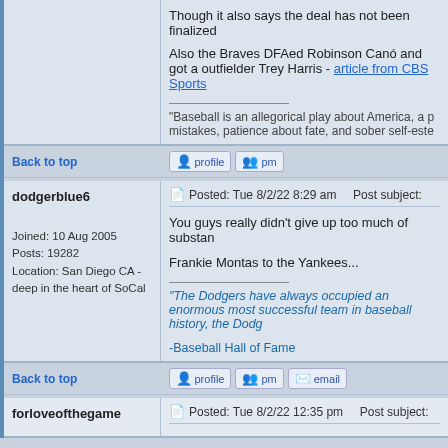Though it also says the deal has not been finalized
Also the Braves DFAed Robinson Canó and got a outfielder Trey Harris - article from CBS Sports
"Baseball is an allegorical play about America, a play about mistakes, patience about fate, and sober self-este
Back to top
dodgerblue6
Joined: 10 Aug 2005
Posts: 19282
Location: San Diego CA - deep in the heart of SoCal
Posted: Tue 8/2/22 8:29 am    Post subject:
You guys really didn't give up too much of substan
Frankie Montas to the Yankees...
"The Dodgers have always occupied an enormous most successful team in baseball history, the Dodg
-Baseball Hall of Fame
Back to top
forloveofthegame
Posted: Tue 8/2/22 12:35 pm    Post subject: